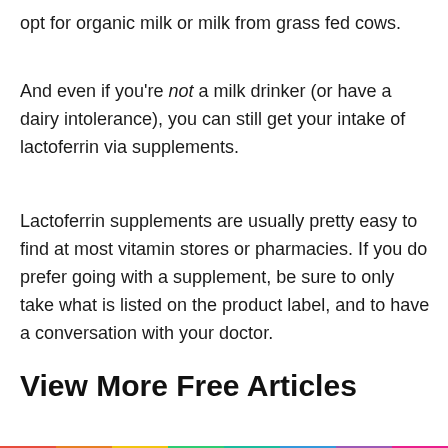opt for organic milk or milk from grass fed cows.
And even if you're not a milk drinker (or have a dairy intolerance), you can still get your intake of lactoferrin via supplements.
Lactoferrin supplements are usually pretty easy to find at most vitamin stores or pharmacies. If you do prefer going with a supplement, be sure to only take what is listed on the product label, and to have a conversation with your doctor.
View More Free Articles